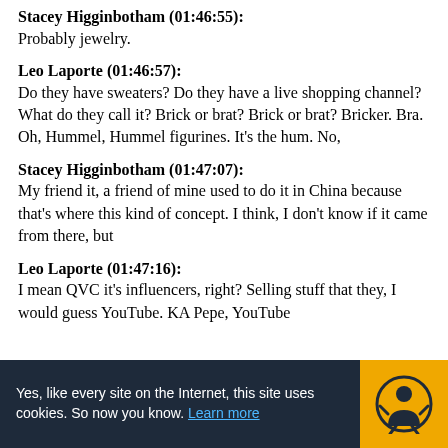Stacey Higginbotham (01:46:55):
Probably jewelry.
Leo Laporte (01:46:57):
Do they have sweaters? Do they have a live shopping channel? What do they call it? Brick or brat? Brick or brat? Bricker. Bra. Oh, Hummel, Hummel figurines. It's the hum. No,
Stacey Higginbotham (01:47:07):
My friend it, a friend of mine used to do it in China because that's where this kind of concept. I think, I don't know if it came from there, but
Leo Laporte (01:47:16):
I mean QVC it's influencers, right? Selling stuff that they, I would guess YouTube. KA Pepe, YouTube
Yes, like every site on the Internet, this site uses cookies. So now you know. Learn more